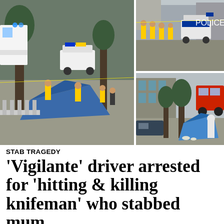[Figure (photo): Three news photos: left large photo shows police at a crime scene with a blue forensic tent and officers in high-vis jackets on a residential street; top right photo shows police officers in high-vis jackets at a cordoned-off street scene; bottom right photo shows a forensic tent with a forensic officer in white suit working at a street crime scene with a red London bus visible in the background.]
STAB TRAGEDY
'Vigilante' driver arrested for 'hitting & killing knifeman' who stabbed mum